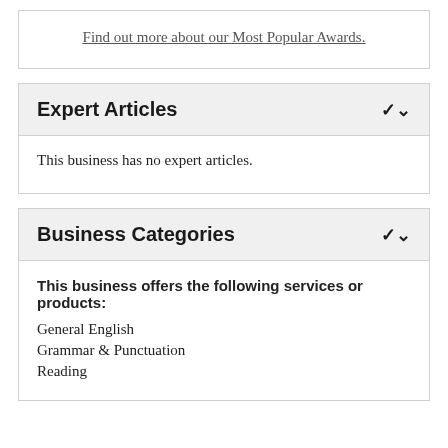Find out more about our Most Popular Awards.
Expert Articles
This business has no expert articles.
Business Categories
This business offers the following services or products:
General English
Grammar & Punctuation
Reading